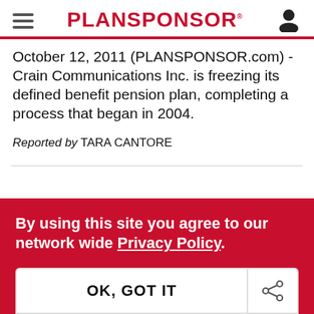PLANSPONSOR
October 12, 2011 (PLANSPONSOR.com) - Crain Communications Inc. is freezing its defined benefit pension plan, completing a process that began in 2004.
Reported by TARA CANTORE
By using this site you agree to our network wide Privacy Policy.
OK, GOT IT